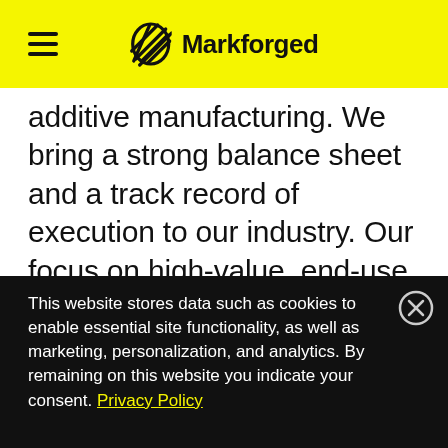Markforged
additive manufacturing. We bring a strong balance sheet and a track record of execution to our industry. Our focus on high-value, end-use manufacturing applications, printed at the point of need, solves for today's extreme supply chain challenges, resulting in a growing install base and leading gross margins. We are accelerating organic product innovation as planned and
This website stores data such as cookies to enable essential site functionality, as well as marketing, personalization, and analytics. By remaining on this website you indicate your consent. Privacy Policy